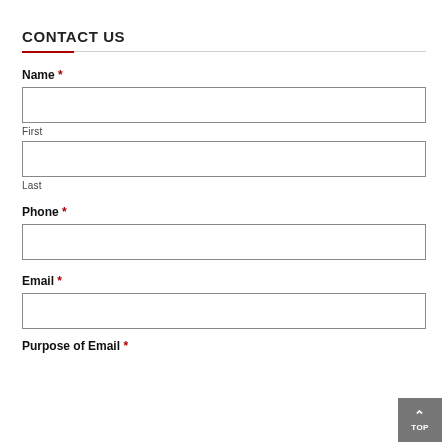CONTACT US
Name *
First
Last
Phone *
Email *
Purpose of Email *